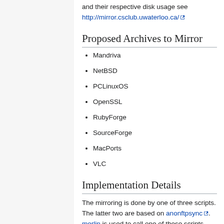and their respective disk usage see http://mirror.csclub.uwaterloo.ca/
Proposed Archives to Mirror
Mandriva
NetBSD
PCLinuxOS
OpenSSL
RubyForge
SourceForge
MacPorts
VLC
Implementation Details
The mirroring is done by one of three scripts. The latter two are based on anonftpsync. merlin is used to call one of these scripts. Most of the scripts and such used to maintain the mirror are